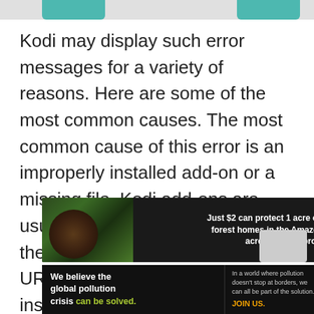Kodi may display such error messages for a variety of reasons. Here are some of the most common causes. The most common cause of this error is an improperly installed add-on or a missing file. Kodi add-ons are usually installed by downloading the setup file from the source URL. That URL is then used for installation.
[Figure (illustration): Advertisement banner: green forest background with an orangutan. Text reads: 'Just $2 can protect 1 acre of irreplaceable forest homes in the Amazon. How many acres will you protect?']
[Figure (illustration): Pure Earth advertisement banner. Black background. Left: 'We believe the global pollution crisis can be solved.' (can be solved in green). Middle: 'In a world where pollution doesn't stop at borders, we can all be part of the solution. JOIN US.' Right: Pure Earth logo with diamond/triangle icon.]